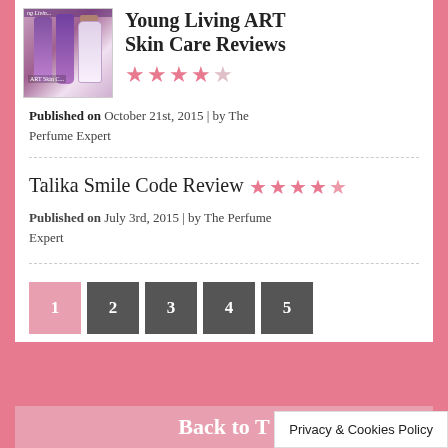Young Living ART Skin Care Reviews
★★★★☆ (4 out of 5 stars)
Published on October 21st, 2015 | by The Perfume Expert
Talika Smile Code Review ★★★★½
Published on July 3rd, 2015 | by The Perfume Expert
1 2 3 4 5 (pagination)
Back to T...
Privacy & Cookies Policy